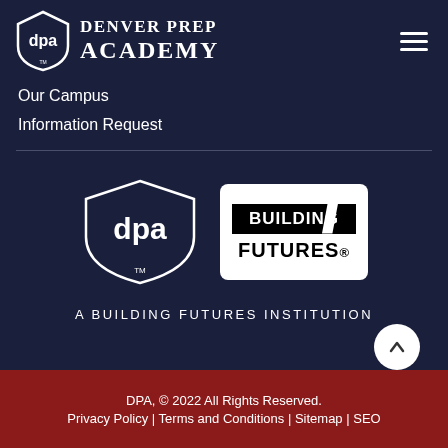[Figure (logo): Denver Prep Academy shield logo with 'dpa' text in white on dark navy background]
DENVER PREP ACADEMY
[Figure (logo): Hamburger menu icon (three horizontal lines) in white]
Our Campus
Information Request
[Figure (logo): Two logos side by side: DPA shield logo in white outline on dark navy, and Building Futures logo in black and white rectangular box]
A BUILDING FUTURES INSTITUTION
DPA, © 2022 All Rights Reserved.
Privacy Policy | Terms and Conditions | Sitemap | SEO